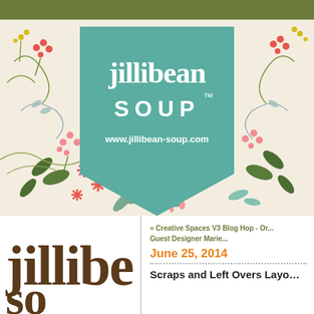[Figure (logo): Jillibean Soup brand header banner with floral botanical illustration background (cream/off-white with colored flowers and leaves), an olive green bar at top, and a teal/mint pentagon-shaped banner in the center displaying the Jillibean Soup logo in white text with www.jillibean-soup.com below]
[Figure (logo): Partial jillibean logo in large brown serif text, cropped on left side of bottom section]
« Creative Spaces V3 Blog Hop - On... Guest Designer Marie...
June 25, 2014
Scraps and Left Overs Layo...